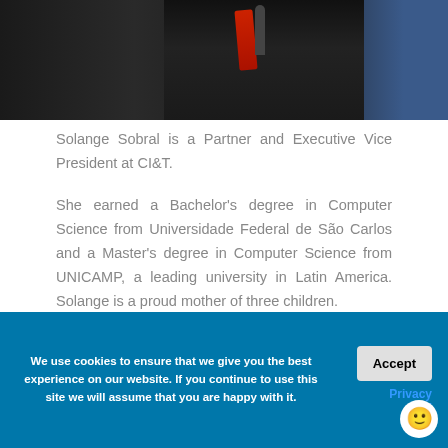[Figure (photo): Photo of Solange Sobral on stage holding a microphone, wearing dark clothing with a red element visible, blue stage lighting in background]
Solange Sobral is a Partner and Executive Vice President at CI&T.

She earned a Bachelor's degree in Computer Science from Universidade Federal de São Carlos and a Master's degree in Computer Science from UNICAMP, a leading university in Latin America. Solange is a proud mother of three children.
We use cookies to ensure that we give you the best experience on our website. If you continue to use this site we will assume that you are happy with it.